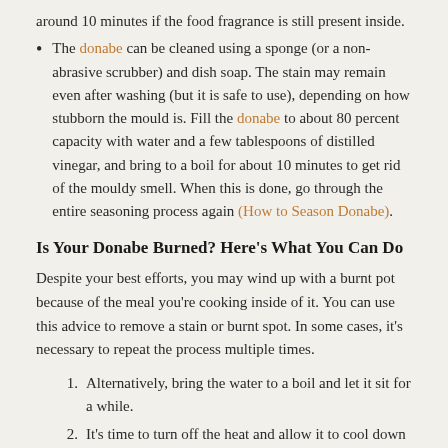around 10 minutes if the food fragrance is still present inside.
The donabe can be cleaned using a sponge (or a non-abrasive scrubber) and dish soap. The stain may remain even after washing (but it is safe to use), depending on how stubborn the mould is. Fill the donabe to about 80 percent capacity with water and a few tablespoons of distilled vinegar, and bring to a boil for about 10 minutes to get rid of the mouldy smell. When this is done, go through the entire seasoning process again (How to Season Donabe).
Is Your Donabe Burned? Here's What You Can Do
Despite your best efforts, you may wind up with a burnt pot because of the meal you're cooking inside of it. You can use this advice to remove a stain or burnt spot. In some cases, it's necessary to repeat the process multiple times.
Alternatively, bring the water to a boil and let it sit for a while.
It's time to turn off the heat and allow it to cool down on its own.